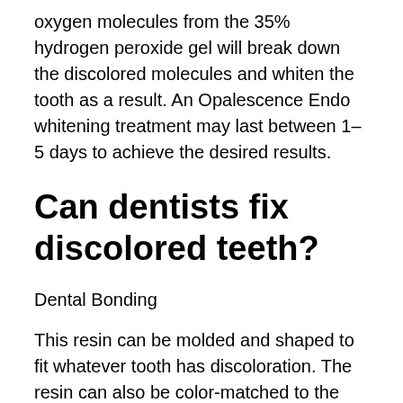oxygen molecules from the 35% hydrogen peroxide gel will break down the discolored molecules and whiten the tooth as a result. An Opalescence Endo whitening treatment may last between 1–5 days to achieve the desired results.
Can dentists fix discolored teeth?
Dental Bonding
This resin can be molded and shaped to fit whatever tooth has discoloration. The resin can also be color-matched to the rest of your smile or made to be as white as you'd like. Dental bonding can be done in a quick visit to your dentist.